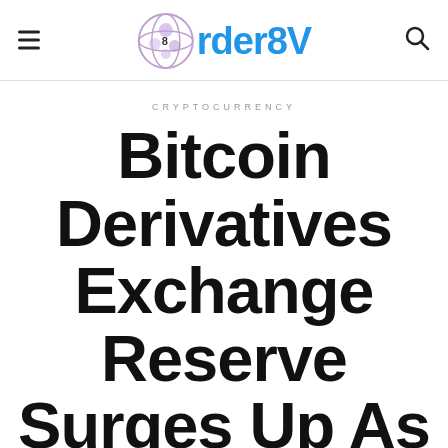[Figure (logo): Order8V website logo with stylized globe/ball icon and 'rder8V' text in blue]
CRYPTOCURRENCY
Bitcoin Derivatives Exchange Reserve Surges Up As BTC